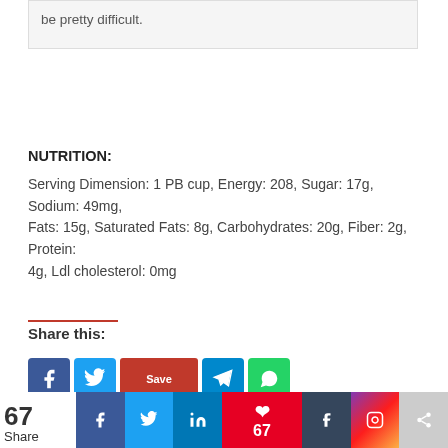be pretty difficult.
NUTRITION:
Serving Dimension: 1 PB cup, Energy: 208, Sugar: 17g, Sodium: 49mg, Fats: 15g, Saturated Fats: 8g, Carbohydrates: 20g, Fiber: 2g, Protein: 4g, Ldl cholesterol: 0mg
Share this:
[Figure (screenshot): Social media share buttons: Facebook, Twitter, Save (Pinterest), Telegram, WhatsApp]
67 Shares — social sharing toolbar with Facebook, Twitter, LinkedIn, Pinterest (67), Tumblr, Instagram, Share buttons